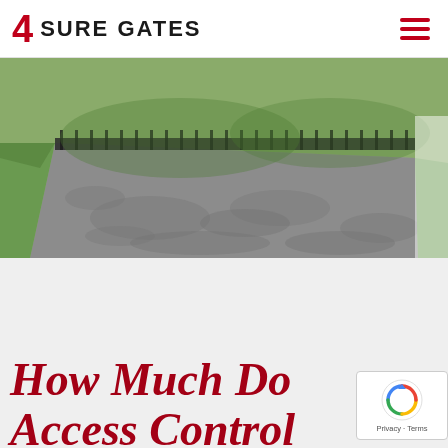4 SURE GATES
[Figure (photo): A wide concrete driveway with dappled tree shadow patterns, bordered by green grass on the left and a metal gate/fence visible at the top.]
How Much Do Access Control